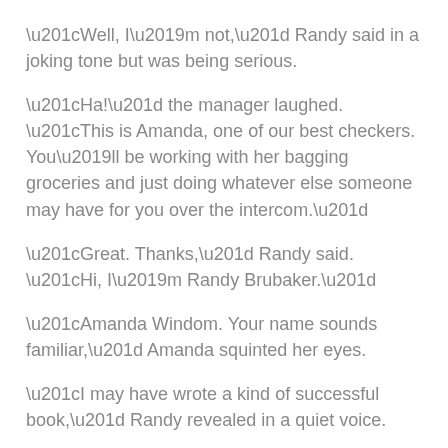“Well, I’m not,” Randy said in a joking tone but was being serious.
“Ha!” the manager laughed. “This is Amanda, one of our best checkers. You’ll be working with her bagging groceries and just doing whatever else someone may have for you over the intercom.”
“Great. Thanks,” Randy said. “Hi, I’m Randy Brubaker.”
“Amanda Windom. Your name sounds familiar,” Amanda squinted her eyes.
“I may have wrote a kind of successful book,” Randy revealed in a quiet voice.
“No, it’s not that. I saw the name on a truck or something.”
“Oh, that was probably my Dad. He’s an electrician and just came out of retirement.”